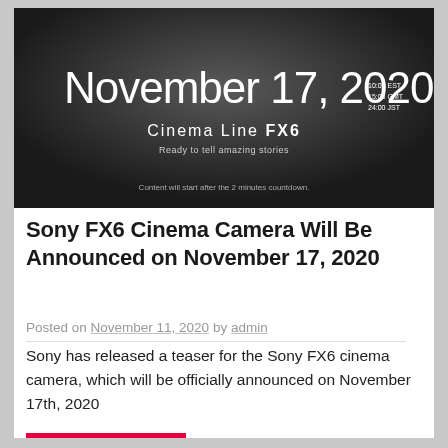[Figure (screenshot): Dark banner image showing 'November 17, 2020' in large white text with time zones listed (10:00 EST, 15:00 GMT, 24:00 JST). Below reads 'Cinema Line FX6 / Ready to tell amazing stories'. At the bottom: 'Content will start after the 2 minutes countdown.']
Sony FX6 Cinema Camera Will Be Announced on November 17, 2020
Posted on November 11, 2020 by admin
Sony has released a teaser for the Sony FX6 cinema camera, which will be officially announced on November 17th, 2020